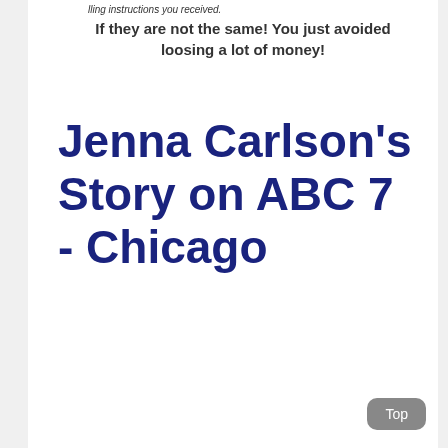lling instructions you received.
If they are not the same! You just avoided loosing a lot of money!
Jenna Carlson's Story on ABC 7 - Chicago